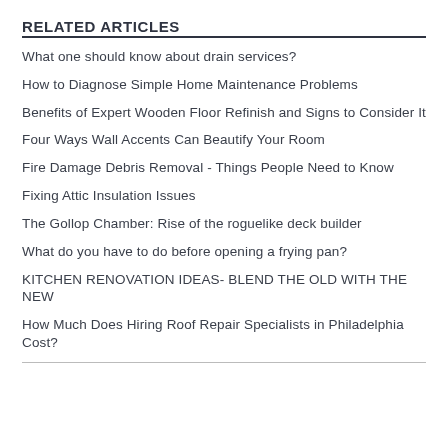RELATED ARTICLES
What one should know about drain services?
How to Diagnose Simple Home Maintenance Problems
Benefits of Expert Wooden Floor Refinish and Signs to Consider It
Four Ways Wall Accents Can Beautify Your Room
Fire Damage Debris Removal - Things People Need to Know
Fixing Attic Insulation Issues
The Gollop Chamber: Rise of the roguelike deck builder
What do you have to do before opening a frying pan?
KITCHEN RENOVATION IDEAS- BLEND THE OLD WITH THE NEW
How Much Does Hiring Roof Repair Specialists in Philadelphia Cost?